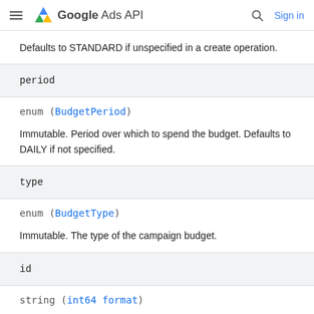Google Ads API
Defaults to STANDARD if unspecified in a create operation.
| period |
| --- |
enum (BudgetPeriod)
Immutable. Period over which to spend the budget. Defaults to DAILY if not specified.
| type |
| --- |
enum (BudgetType)
Immutable. The type of the campaign budget.
| id |
| --- |
string (int64 format)
Output only. The ID of the campaign budget.
A campaign budget is used during the Campaign Budget Service...